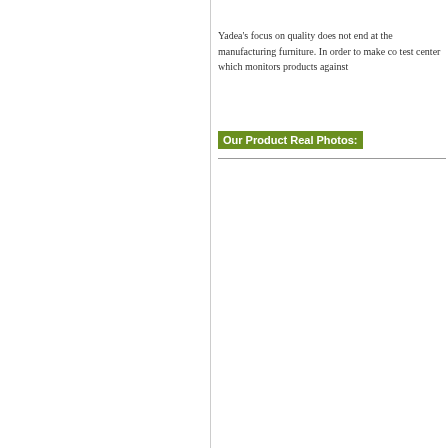Yadea's focus on quality does not end at the manufacturing furniture. In order to make co test center which monitors products against
Our Product Real Photos: